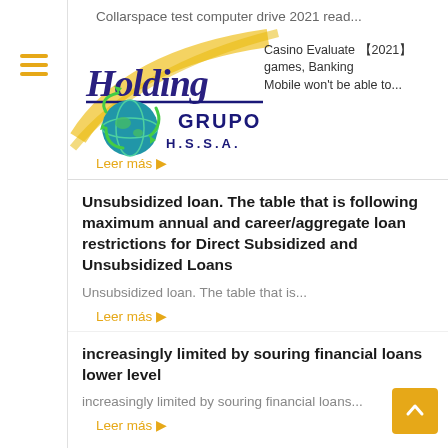[Figure (logo): Holding Grupo H.S.S.A. logo with cursive Holding text in blue/purple and globe icon with yellow swoosh]
Collarspace test computer drive 2021 read...
Casino Evaluate 【2021】 games, Banking
Mobile won't be able to...
Leer más ▶
Unsubsidized loan. The table that is following maximum annual and career/aggregate loan restrictions for Direct Subsidized and Unsubsidized Loans
Unsubsidized loan. The table that is...
Leer más ▶
increasingly limited by souring financial loans lower level
increasingly limited by souring financial loans...
Leer más ▶